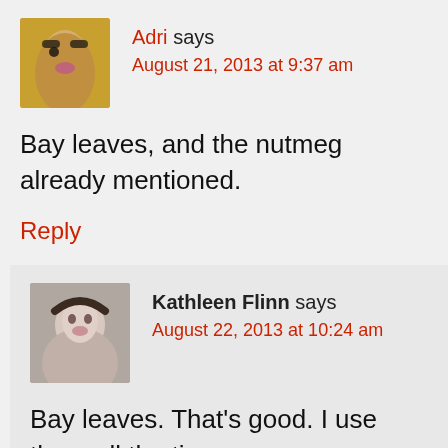Adri says August 21, 2013 at 9:37 am
Bay leaves, and the nutmeg already mentioned.
Reply
Kathleen Flinn says August 22, 2013 at 10:24 am
Bay leaves. That's good. I use them all the time.